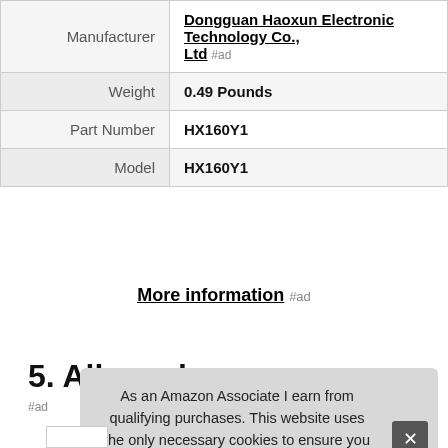|  |  |
| --- | --- |
| Manufacturer | Dongguan Haoxun Electronic Technology Co., Ltd #ad |
| Weight | 0.49 Pounds |
| Part Number | HX160Y1 |
| Model | HX160Y1 |
More information #ad
5. Allengel
As an Amazon Associate I earn from qualifying purchases. This website uses the only necessary cookies to ensure you get the best experience on our website. More information